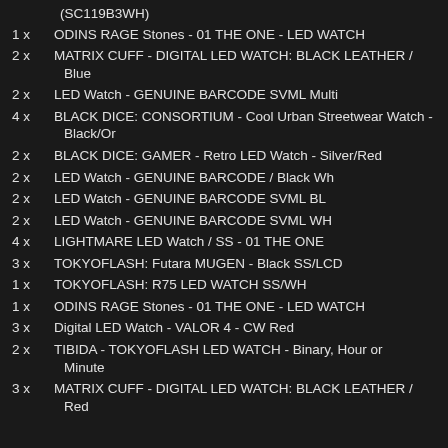(SC119B3WH)
1 x   ODINS RAGE Stones - 01 THE ONE - LED WATCH
2 x   MATRIX CUFF - DIGITAL LED WATCH: BLACK LEATHER / Blue
2 x   LED Watch - GENUINE BARCODE SVML Multi
4 x   BLACK DICE: CONSORTIUM - Cool Urban Streetwear Watch - Black/Or
2 x   BLACK DICE: GAMER - Retro LED Watch - Silver/Red
2 x   LED Watch - GENUINE BARCODE / Black Wh
2 x   LED Watch - GENUINE BARCODE SVML BL
2 x   LED Watch - GENUINE BARCODE SVML WH
4 x   LIGHTMARE LED Watch / SS - 01 THE ONE
3 x   TOKYOFLASH: Futara MUGEN - Black SS/LCD
1 x   TOKYOFLASH: R75 LED WATCH SS/WH
1 x   ODINS RAGE Stones - 01 THE ONE - LED WATCH
3 x   Digital LED Watch - VALOR 4 - CW Red
2 x   TIBIDA - TOKYOFLASH LED WATCH - Binary, Hour or Minute
3 x   MATRIX CUFF - DIGITAL LED WATCH: BLACK LEATHER / Red